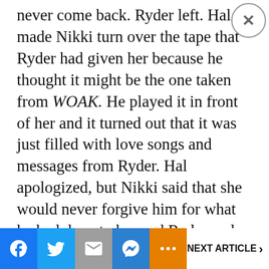never come back. Ryder left. Hal made Nikki turn over the tape that Ryder had given her because he thought it might be the one taken from WOAK. He played it in front of her and it turned out that it was just filled with love songs and messages from Ryder. Hal apologized, but Nikki said that she would never forgive him for what he had done to her and Ryder and she stormed out. Later, she met Ryder outside of the Hughes' house and told him what had happened after he left. She loved the tape and wanted Ryder to know
[Figure (screenshot): Advertisement panel with 'Search for' header and two ad items: 'Crime Rate Comparison' and 'Water Damaged Wall Repair', with Ad label and Business Focus footer]
[Figure (screenshot): Bottom social sharing navigation bar with Facebook, Twitter, Email, Messenger, More buttons and NEXT ARTICLE link]